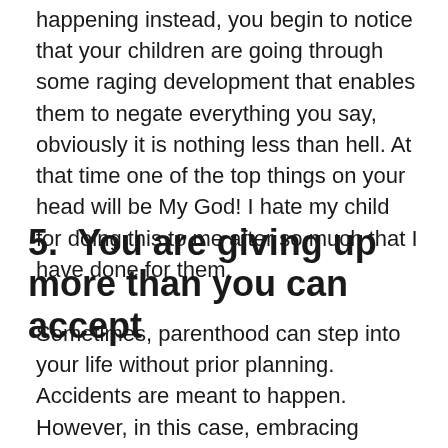happening instead, you begin to notice that your children are going through some raging development that enables them to negate everything you say, obviously it is nothing less than hell. At that time one of the top things on your head will be My God! I hate my child for doing this to me after so much that I have done for them.
5.  You are giving up more than you can accept
Sometimes, parenthood can step into your life without prior planning. Accidents are meant to happen. However, in this case, embracing parenthood gets difficult as you have to be a lot behind to be there for the baby. And by there I don't mean a year or two. You know subconsciously that